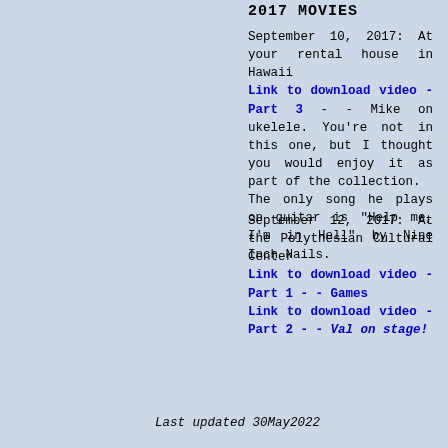2017 MOVIES
September 10, 2017: At your rental house in Hawaii
Link to download video - Part 3 - - Mike on ukelele. You're not in this one, but I thought you would enjoy it as part of the collection.
The only song he plays on guitar is "Help me, I'm in Hell" by Nine Inch Nails.
September 12, 2017: At the Polytnesian Cultural Center
Link to download video - Part 1 - - Games
Link to download video - Part 2 - - Val on stage!
Last updated 30May2022